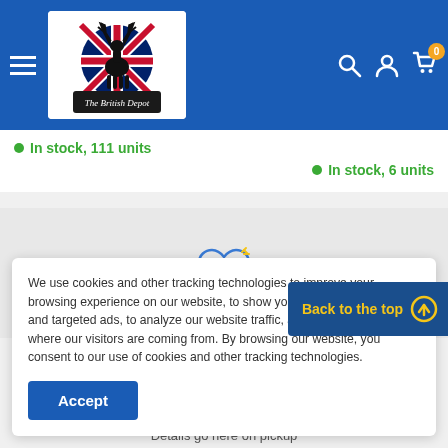[Figure (logo): The British Depot logo with Union Jack flag and stag silhouette]
In stock, 111 units
In stock, 6 units
We use cookies and other tracking technologies to improve your browsing experience on our website, to show you personalized content and targeted ads, to analyze our website traffic, and to understand where our visitors are coming from. By browsing our website, you consent to our use of cookies and other tracking technologies.
Accept
Back to the top
Details go here on pickup